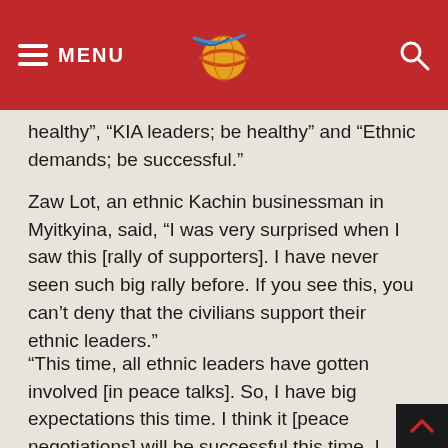MENU [logo] [search]
healthy”, “KIA leaders; be healthy” and “Ethnic demands; be successful.”
Zaw Lot, an ethnic Kachin businessman in Myitkyina, said, “I was very surprised when I saw this [rally of supporters]. I have never seen such big rally before. If you see this, you can’t deny that the civilians support their ethnic leaders.”
“This time, all ethnic leaders have gotten involved [in peace talks]. So, I have big expectations this time. I think it [peace negotiations] will be successful this time. I support it,” said Zaw Lot.
Due to civil war, thousands of civilians in ethnic states i